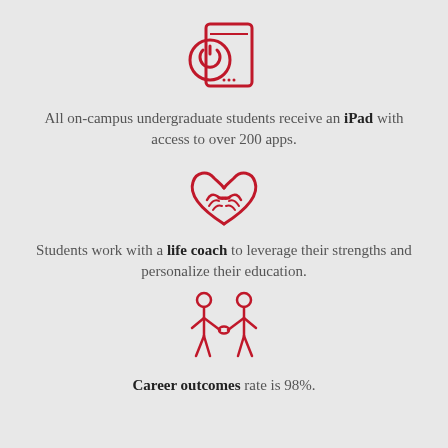[Figure (illustration): Red line-art icon of a tablet/iPad with a power button circle overlay]
All on-campus undergraduate students receive an iPad with access to over 200 apps.
[Figure (illustration): Red line-art icon of two hands shaking forming a heart shape]
Students work with a life coach to leverage their strengths and personalize their education.
[Figure (illustration): Red line-art icon of two people shaking hands]
Career outcomes rate is 98%.